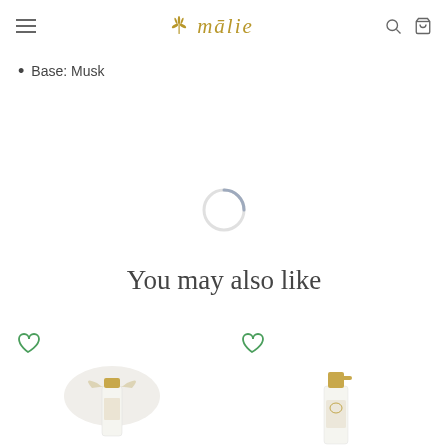malie (logo with navigation icons)
Base: Musk
[Figure (other): A loading spinner circle, partially filled arc in grey, indicating content is loading]
You may also like
[Figure (photo): Product card 1 with a green heart icon at top left, showing a perfume gift set with ribbon on a white background]
[Figure (photo): Product card 2 with a green heart icon at top left, showing a perfume spray bottle with gold cap on white background]